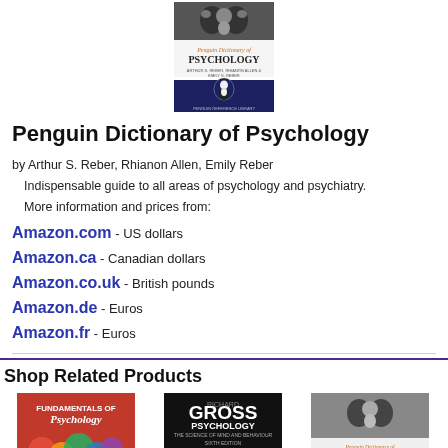[Figure (photo): Book cover of Penguin Dictionary of Psychology showing Rorschach inkblot image, title text, and Penguin Books library imprint]
Penguin Dictionary of Psychology
by Arthur S. Reber, Rhianon Allen, Emily Reber
  Indispensable guide to all areas of psychology and psychiatry.
  More information and prices from:
Amazon.com - US dollars
Amazon.ca - Canadian dollars
Amazon.co.uk - British pounds
Amazon.de - Euros
Amazon.fr - Euros
Shop Related Products
[Figure (photo): Book cover: Fundamentals of Psychology with colorful circles]
[Figure (photo): Book cover: Gross Psychology - The Science of Mind and Behaviour]
[Figure (photo): Book cover: Penguin Dictionary of Psychology]